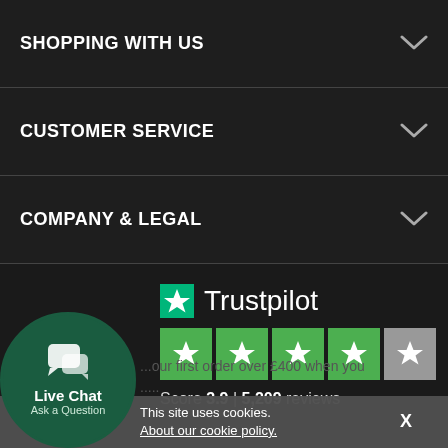SHOPPING WITH US
CUSTOMER SERVICE
COMPANY & LEGAL
[Figure (logo): Trustpilot logo with green star, rating stars (4 green, 1 gray), Score 3.9, 5,209 reviews]
Live Chat
Ask a Question
This site uses cookies. About our cookie policy.